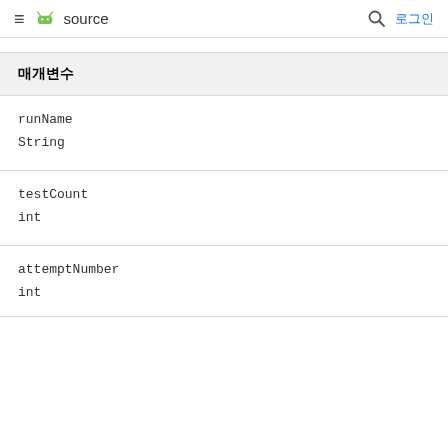≡  source   🔍  로그인
| 매개변수 |
| --- |
| runName | String |
| testCount | int |
| attemptNumber | int |